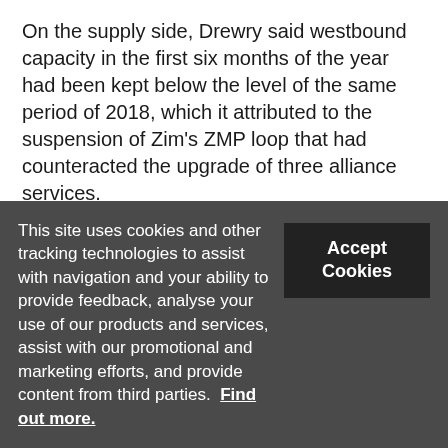On the supply side, Drewry said westbound capacity in the first six months of the year had been kept below the level of the same period of 2018, which it attributed to the suspension of Zim's ZMP loop that had counteracted the upgrade of three alliance services.
It noted that westbound vessel utilisation levels in May had recovered to about 90%, from an 85% average in the second quarter, and that the capacity
This site uses cookies and other tracking technologies to assist with navigation and your ability to provide feedback, analyse your use of our products and services, assist with our promotional and marketing efforts, and provide content from third parties.  Find out more.